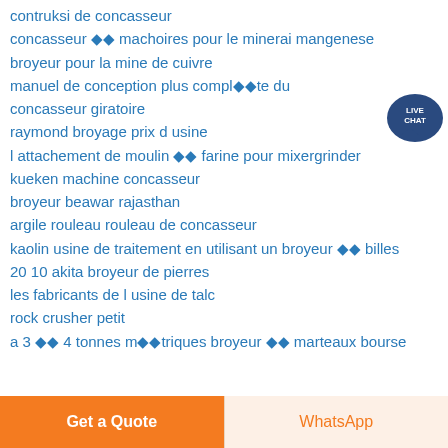contruksi de concasseur
concasseur �� machoires pour le minerai mangenese
broyeur pour la mine de cuivre
manuel de conception plus compl���te du concasseur giratoire
raymond broyage prix d usine
l attachement de moulin �� farine pour mixergrinder
kueken machine concasseur
broyeur beawar rajasthan
argile rouleau rouleau de concasseur
kaolin usine de traitement en utilisant un broyeur �� billes
20 10 akita broyeur de pierres
les fabricants de l usine de talc
rock crusher petit
a 3 �� 4 tonnes m���triques broyeur �� marteaux bourse
[Figure (other): Live Chat bubble button in upper right corner]
Get a Quote | WhatsApp